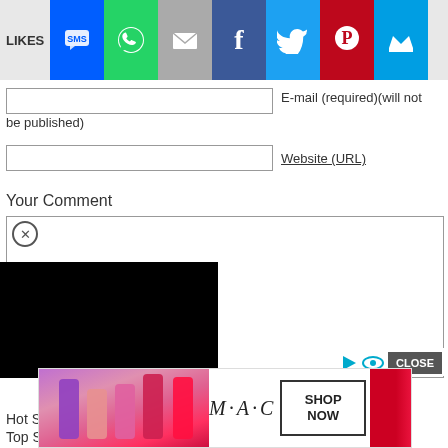[Figure (screenshot): Social share bar with LIKES label and buttons: SMS (blue), WhatsApp (green), Email (gray), Facebook (dark blue), Twitter (light blue), Pinterest (red), Crown (blue)]
E-mail (required)(will not be published)
Website (URL)
Your Comment
[Figure (screenshot): Black video overlay rectangle with close (X) circle button]
submit
Search for
CLOSE
Hot S...
Top S...
[Figure (photo): MAC cosmetics advertisement banner showing lipsticks in purple, pink, and red with MAC logo and SHOP NOW button]